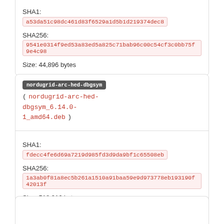SHA1: a53da51c98dc461d83f6529a1d5b1d219374dec8
SHA256: 9541e0314f9ed53a83ed5a825c71bab96c00c54cf3c0bb75f9e4c98...
Size: 44,896 bytes
nordugrid-arc-hed-dbgsym ( nordugrid-arc-hed-dbgsym_6.14.0-1_amd64.deb )
SHA1: fdecc4fe6d69a7219d985fd3d9da9bf1c65508eb
SHA256: 1a3ab0f81a8ec5b261a1510a91baa59e9d973778eb193190f42013f...
Size: 518,916 bytes